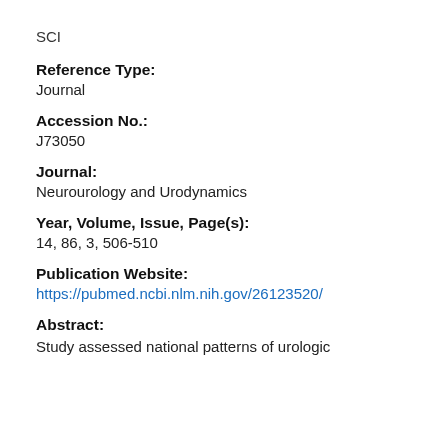SCI
Reference Type:
Journal
Accession No.:
J73050
Journal:
Neurourology and Urodynamics
Year, Volume, Issue, Page(s):
14, 86, 3, 506-510
Publication Website:
https://pubmed.ncbi.nlm.nih.gov/26123520/
Abstract:
Study assessed national patterns of urologic